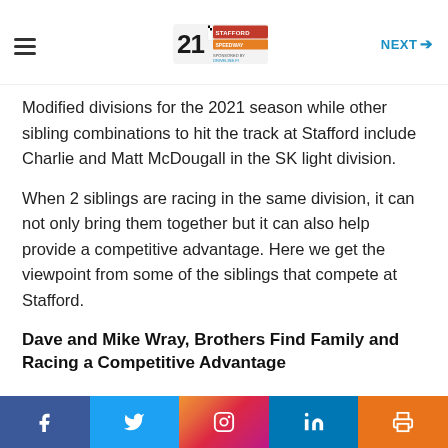NEXT →
Modified divisions for the 2021 season while other sibling combinations to hit the track at Stafford include Charlie and Matt McDougall in the SK light division.
When 2 siblings are racing in the same division, it can not only bring them together but it can also help provide a competitive advantage. Here we get the viewpoint from some of the siblings that compete at Stafford.
Dave and Mike Wray, Brothers Find Family and Racing a Competitive Advantage